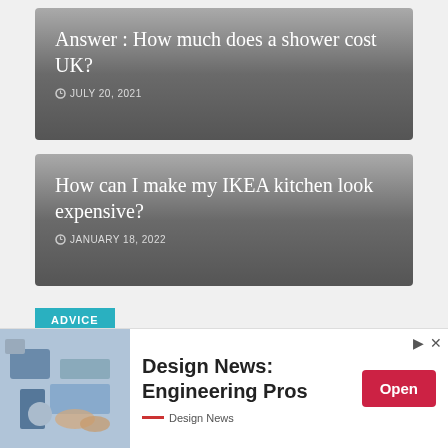[Figure (screenshot): Article card with gradient gray background showing title 'Answer : How much does a shower cost UK?' with date July 20, 2021]
Answer : How much does a shower cost UK?
JULY 20, 2021
[Figure (screenshot): Article card with gradient gray background showing title 'How can I make my IKEA kitchen look expensive?' with date January 18, 2022]
How can I make my IKEA kitchen look expensive?
JANUARY 18, 2022
ADVICE
[Figure (photo): Advertisement banner: Design News Engineering Pros with photo of electronics/engineering equipment, Open button, Design News logo]
Design News: Engineering Pros
Design News